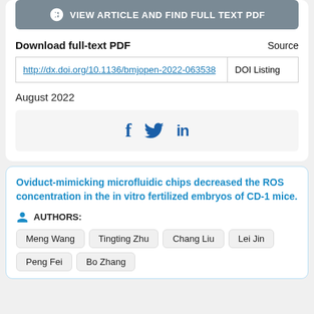[Figure (other): Button: VIEW ARTICLE AND FIND FULL TEXT PDF with an icon]
| Download full-text PDF | Source |
| --- | --- |
| http://dx.doi.org/10.1136/bmjopen-2022-063538 | DOI Listing |
August 2022
[Figure (infographic): Social media icons: Facebook (f), Twitter (bird), LinkedIn (in)]
Oviduct-mimicking microfluidic chips decreased the ROS concentration in the in vitro fertilized embryos of CD-1 mice.
AUTHORS:
Meng Wang
Tingting Zhu
Chang Liu
Lei Jin
Peng Fei
Bo Zhang